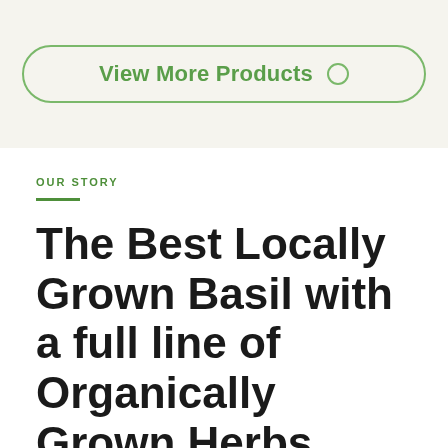[Figure (other): Button with rounded border labeled 'View More Products' with a small circle icon on the right, styled in green on a beige background]
OUR STORY
The Best Locally Grown Basil with a full line of Organically Grown Herbs